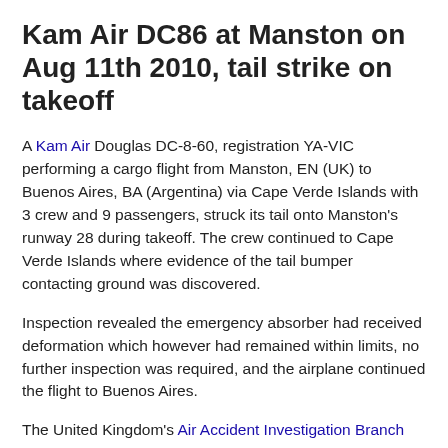Kam Air DC86 at Manston on Aug 11th 2010, tail strike on takeoff
A Kam Air Douglas DC-8-60, registration YA-VIC performing a cargo flight from Manston, EN (UK) to Buenos Aires, BA (Argentina) via Cape Verde Islands with 3 crew and 9 passengers, struck its tail onto Manston's runway 28 during takeoff. The crew continued to Cape Verde Islands where evidence of the tail bumper contacting ground was discovered.
Inspection revealed the emergency absorber had received deformation which however had remained within limits, no further inspection was required, and the airplane continued the flight to Buenos Aires.
The United Kingdom's Air Accident Investigation Branch released their Bulletin reporting that Kam Air had...